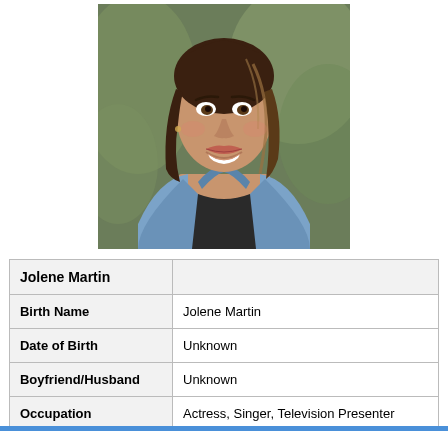[Figure (photo): Portrait photo of Jolene Martin, a woman with long dark hair wearing a denim jacket, smiling, photographed outdoors with a blurred green background.]
| Jolene Martin |  |
| Birth Name | Jolene Martin |
| Date of Birth | Unknown |
| Boyfriend/Husband | Unknown |
| Occupation | Actress, Singer, Television Presenter |